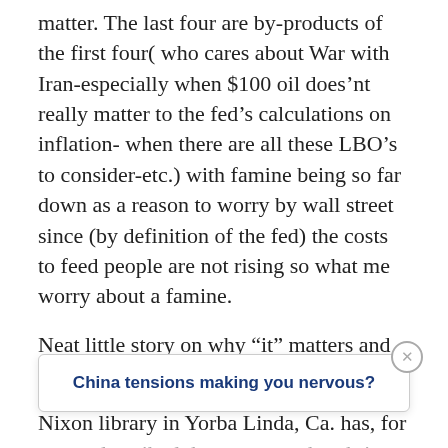matter. The last four are by-products of the first four( who cares about War with Iran-especially when $100 oil does’nt really matter to the fed’s calculations on inflation- when there are all these LBO’s to consider-etc.) with famine being so far down as a reason to worry by wall street since (by definition of the fed) the costs to feed people are not rising so what me worry about a famine.
Neat little story on why “it” matters and when:
Nixon library in Yorba Linda, Ca. has, for years, described the watergate break-in a[...] e-e[...] presentations in the library have all
China tensions making you nervous?